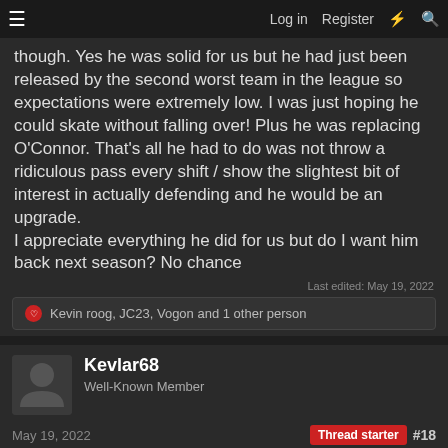Log in | Register
though. Yes he was solid for us but he had just been released by the second worst team in the league so expectations were extremely low. I was just hoping he could skate without falling over! Plus he was replacing O'Connor. That's all he had to do was not throw a ridiculous pass every shift / show the slightest bit of interest in actually defending and he would be an upgrade.
I appreciate everything he did for us but do I want him back next season? No chance
Last edited: May 19, 2022
Kevin roog, JC23, Vogon and 1 other person
Kevlar68
Well-Known Member
May 19, 2022
Thread starter #18